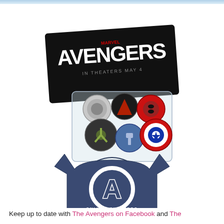[Figure (photo): Avengers movie promotional merchandise: top image shows Avengers movie card header with logo 'IN THEATERS MAY 4' and a clear bag containing 6 circular button pins featuring Avengers character icons (Iron Man, Black Widow, Hawkeye, Hulk/S.H.I.E.L.D., Thor, Captain America). Bottom image shows a navy blue Avengers t-shirt with large white Avengers 'A' logo and text 'ONLY IN THEATERS'.]
Keep up to date with The Avengers on Facebook and The